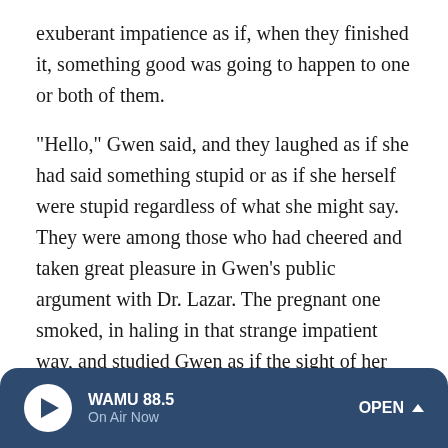exuberant impatience as if, when they finished it, something good was going to happen to one or both of them.
"Hello," Gwen said, and they laughed as if she had said something stupid or as if she herself were stupid regardless of what she might say. They were among those who had cheered and taken great pleasure in Gwen's public argument with Dr. Lazar. The pregnant one smoked, in haling in that strange impatient way, and studied Gwen as if the sight of her confirmed some long-held theory.
"You a midwife?" the pregnant woman said.
Gwen nodded, trying to look proud and competent, a credit to her profession and her people. The pregnant woman
WAMU 88.5 On Air Now OPEN